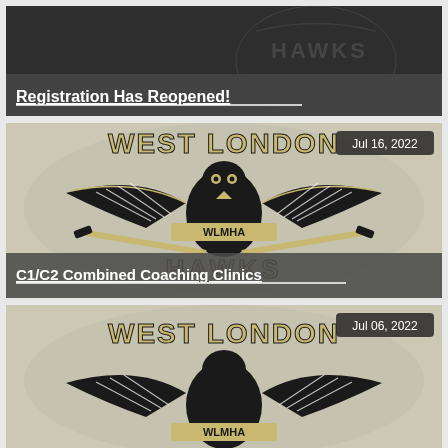[Figure (screenshot): Card 1: West London Hawks logo (dark background, text HAWKS visible) with underlined link text 'Registration Has Reopened!']
[Figure (screenshot): Card 2: West London Hawks WLMHA logo — eagle with hockey sticks, text WEST LONDON and HAWKS. Date badge 'Jul 16, 2022'. Title bar with link 'C1/C2 Combined Coaching Clinics']
[Figure (screenshot): Card 3: West London Hawks WLMHA logo — eagle with hockey sticks, text WEST LONDON. Date badge 'Jul 06, 2022'. Partial view, bottom cut off.]